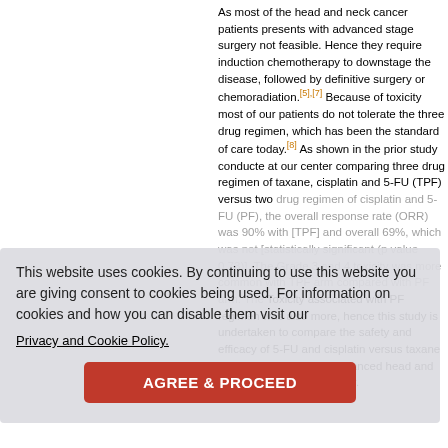As most of the head and neck cancer patients presents with advanced stage surgery not feasible. Hence they require induction chemotherapy to downstage the disease, followed by definitive surgery or chemoradiation.[5],[7] Because of toxicity most of our patients do not tolerate the three drug regimen, which has been the standard of care today.[8] As shown in the prior study conducted at our center comparing three drug regimen of taxane, cisplatin and 5-FU (TPF) versus two drug regimen of cisplatin and 5-FU (PF), the overall response rate (ORR) was 90% with [TPF] and overall 69% which was not [statistically significant (p value 0.73)]. The Grade 3 and 4 toxicity was more common with TPF arm compared with PF arm. The Toxicity associated with PF regimen was also more, hence this study is undertaken to compare the safety and efficacy of 5-FU and cisplatin versus taxane and cisplatin in locally advanced head and neck squamous cell cancer.
This website uses cookies. By continuing to use this website you are giving consent to cookies being used. For information on cookies and how you can disable them visit our
Privacy and Cookie Policy.
AGREE & PROCEED